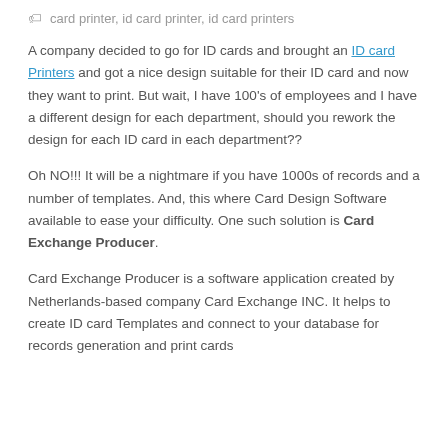card printer, id card printer, id card printers
A company decided to go for ID cards and brought an ID card Printers and got a nice design suitable for their ID card and now they want to print. But wait, I have 100's of employees and I have a different design for each department, should you rework the design for each ID card in each department??
Oh NO!!! It will be a nightmare if you have 1000s of records and a number of templates. And, this where Card Design Software available to ease your difficulty. One such solution is Card Exchange Producer.
Card Exchange Producer is a software application created by Netherlands-based company Card Exchange INC. It helps to create ID card Templates and connect to your database for records generation and print cards